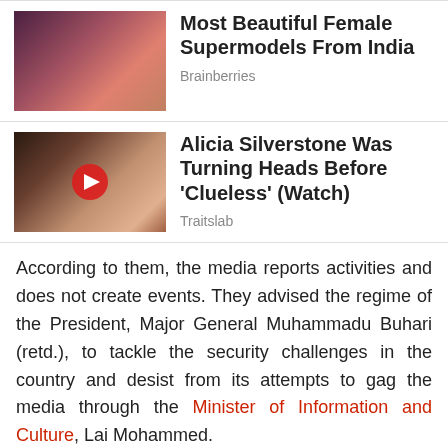[Figure (photo): Thumbnail of a beautiful Indian female model smiling]
Most Beautiful Female Supermodels From India
Brainberries
[Figure (screenshot): Video thumbnail with YouTube play button showing Alicia Silverstone]
Alicia Silverstone Was Turning Heads Before 'Clueless' (Watch)
Traitslab
According to them, the media reports activities and does not create events. They advised the regime of the President, Major General Muhammadu Buhari (retd.), to tackle the security challenges in the country and desist from its attempts to gag the media through the Minister of Information and Culture, Lai Mohammed.